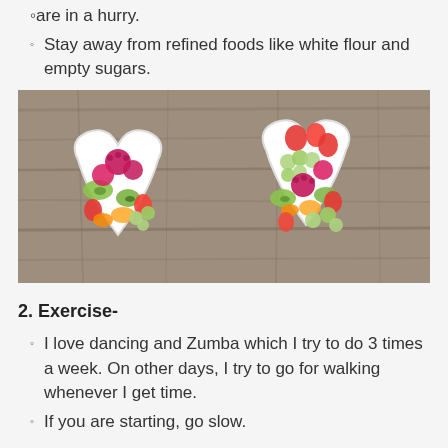Stay away from refined foods like white flour and empty sugars.
[Figure (photo): Two heart-shaped white bowls filled with mixed fruits including raspberries, strawberries, kiwi, grapes, and melon, placed on a wooden surface.]
2. Exercise-
I love dancing and Zumba which I try to do 3 times a week. On other days, I try to go for walking whenever I get time.
If you are starting, go slow.